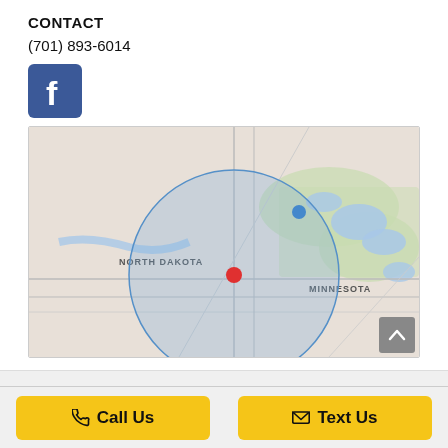CONTACT
(701) 893-6014
[Figure (logo): Facebook logo icon — white 'f' on blue square background]
[Figure (map): Map showing North Dakota/Minnesota border region with a large blue semi-transparent circle overlay centered on a red marker dot, and a blue marker dot to the northeast. The map shows roads, water bodies, and state labels including NORTH DAKOTA and MINNESOTA.]
Call Us
Text Us